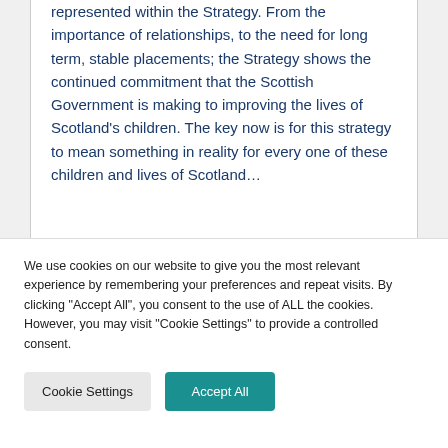represented within the Strategy. From the importance of relationships, to the need for long term, stable placements; the Strategy shows the continued commitment that the Scottish Government is making to improving the lives of Scotland's children. The key now is for this strategy to mean something in reality for every one of these children and lives of Scotland...
We use cookies on our website to give you the most relevant experience by remembering your preferences and repeat visits. By clicking "Accept All", you consent to the use of ALL the cookies. However, you may visit "Cookie Settings" to provide a controlled consent.